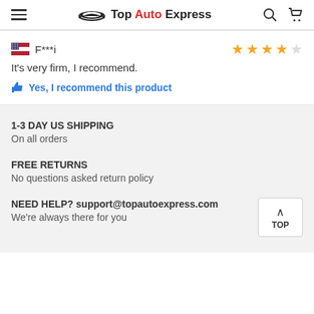Top Auto Express
F***i — 4 stars — It's very firm, I recommend.
Yes, I recommend this product
1-3 DAY US SHIPPING
On all orders
FREE RETURNS
No questions asked return policy
NEED HELP? support@topautoexpress.com
We're always there for you